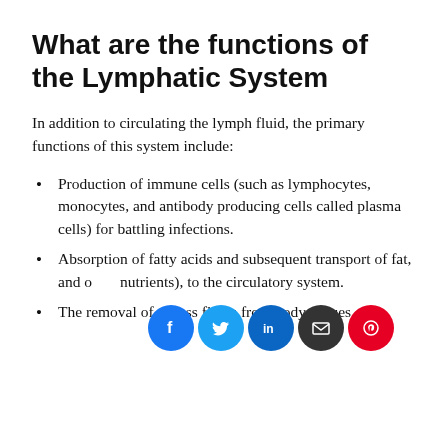What are the functions of the Lymphatic System
In addition to circulating the lymph fluid, the primary functions of this system include:
Production of immune cells (such as lymphocytes, monocytes, and antibody producing cells called plasma cells) for battling infections.
Absorption of fatty acids and subsequent transport of fat, and other nutrients), to the circulatory system.
The removal of excess fluids from body tissues.